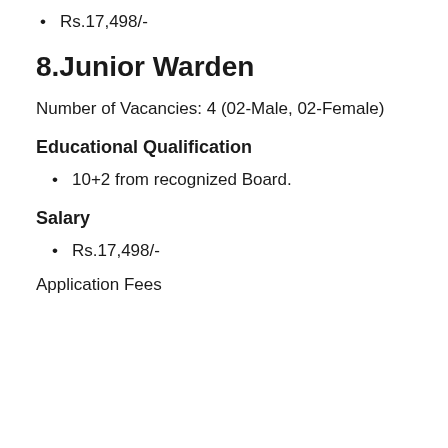Rs.17,498/-
8.Junior Warden
Number of Vacancies: 4 (02-Male, 02-Female)
Educational Qualification
10+2 from recognized Board.
Salary
Rs.17,498/-
Application Fees